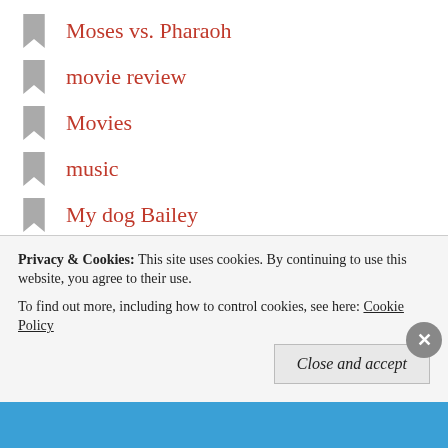Moses vs. Pharaoh
movie review
Movies
music
My dog Bailey
Never know what you've got til it's gone
orphan spirit
Overcoming Abuse
Pets
pets dogs
pizza
Published
Puppies
Privacy & Cookies: This site uses cookies. By continuing to use this website, you agree to their use.
To find out more, including how to control cookies, see here: Cookie Policy
Close and accept